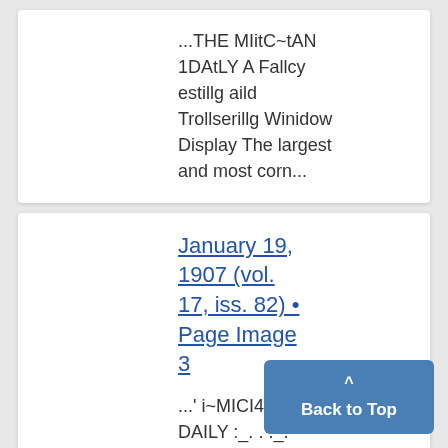...THE MIitC~tAN 1DAtLY A Fallcy estillg aild Trollserillg Winidow Display The largest and most corn...
January 19, 1907 (vol. 17, iss. 82) • Page Image 3
...' i~MICI4IGAN DAILY :_. . ._._r . Great Inv Sale FOR. TH